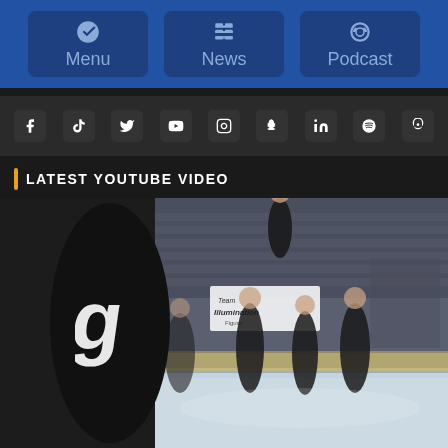Menu | News | Podcast
[Figure (screenshot): Social media icons row: Facebook, TikTok, Twitter, YouTube, Instagram, Snapchat, LinkedIn, Spotify, Podcast]
LATEST YOUTUBE VIDEO
[Figure (photo): YouTube video thumbnail showing synchronized ice skaters in black costumes performing at a rink, with a REPLAY watermark overlay and a sports logo on the left side. A banner reads 'Team Illumination'.]